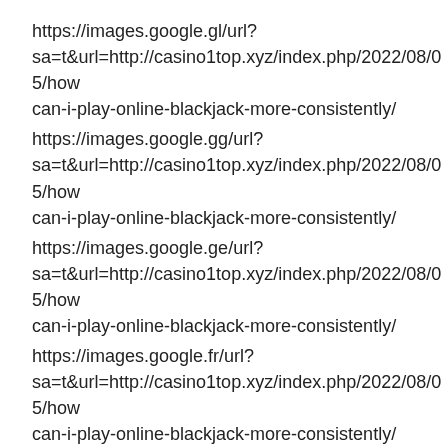https://images.google.gl/url?sa=t&url=http://casino1top.xyz/index.php/2022/08/05/how-can-i-play-online-blackjack-more-consistently/
https://images.google.gg/url?sa=t&url=http://casino1top.xyz/index.php/2022/08/05/how-can-i-play-online-blackjack-more-consistently/
https://images.google.ge/url?sa=t&url=http://casino1top.xyz/index.php/2022/08/05/how-can-i-play-online-blackjack-more-consistently/
https://images.google.fr/url?sa=t&url=http://casino1top.xyz/index.php/2022/08/05/how-can-i-play-online-blackjack-more-consistently/
https://images.google.fm/url?sa=t&url=http://casino1top.xyz/index.php/2022/08/05/how-can-i-play-online-blackjack-more-consistently/
https://images.google.fi/url?sa=t&url=http://casino1top.xyz/index.php/2022/08/05/how